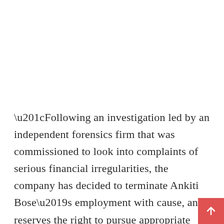“Following an investigation led by an independent forensics firm that was commissioned to look into complaints of serious financial irregularities, the company has decided to terminate Ankiti Bose’s employment with cause, and reserves the right to pursue appropriate legal action,” Zilingo said in a statement.